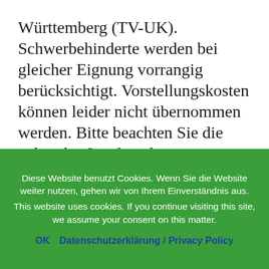Württemberg (TV-UK). Schwerbehinderte werden bei gleicher Eignung vorrangig berücksichtigt. Vorstellungskosten können leider nicht übernommen werden. Bitte beachten Sie die geltenden Impfregelungen.
Diese Website benutzt Cookies. Wenn Sie die Website weiter nutzen, gehen wir von Ihrem Einverständnis aus. This website uses cookies. If you continue visiting this site, we assume your consent on this matter.
OK   Datenschutzerklärung / Privacy Policy